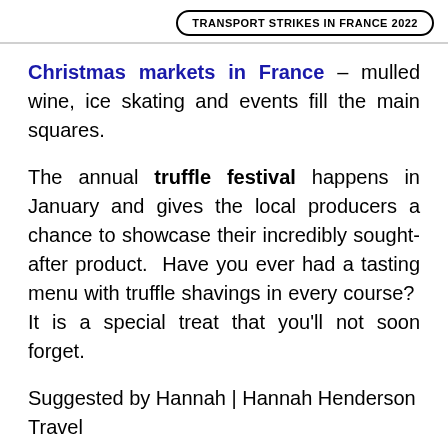TRANSPORT STRIKES IN FRANCE 2022
Christmas markets in France – mulled wine, ice skating and events fill the main squares.
The annual truffle festival happens in January and gives the local producers a chance to showcase their incredibly sought-after product. Have you ever had a tasting menu with truffle shavings in every course? It is a special treat that you'll not soon forget.
Suggested by Hannah | Hannah Henderson Travel